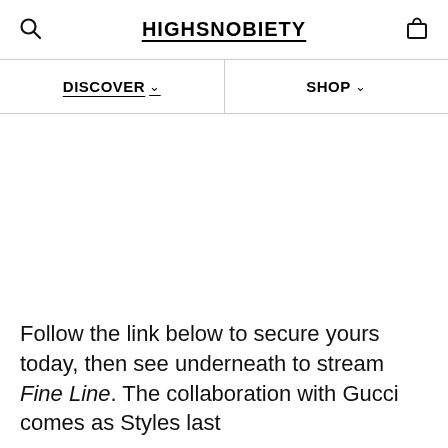HIGHSNOBIETY
DISCOVER  SHOP
Follow the link below to secure yours today, then see underneath to stream Fine Line. The collaboration with Gucci comes as Styles last